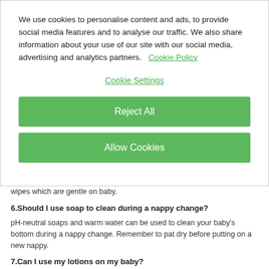We use cookies to personalise content and ads, to provide social media features and to analyse our traffic. We also share information about your use of our site with our social media, advertising and analytics partners.   Cookie Policy
Cookie Settings
Reject All
Allow Cookies
wipes which are gentle on baby.
6.Should I use soap to clean during a nappy change?
pH-neutral soaps and warm water can be used to clean your baby's bottom during a nappy change. Remember to pat dry before putting on a new nappy.
7.Can I use my lotions on my baby?
It is not recommended to use skin care products made for adults on your